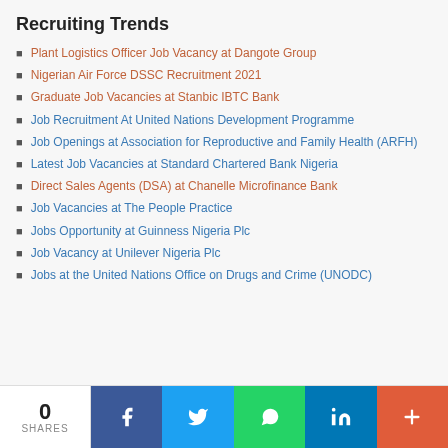Recruiting Trends
Plant Logistics Officer Job Vacancy at Dangote Group
Nigerian Air Force DSSC Recruitment 2021
Graduate Job Vacancies at Stanbic IBTC Bank
Job Recruitment At United Nations Development Programme
Job Openings at Association for Reproductive and Family Health (ARFH)
Latest Job Vacancies at Standard Chartered Bank Nigeria
Direct Sales Agents (DSA) at Chanelle Microfinance Bank
Job Vacancies at The People Practice
Jobs Opportunity at Guinness Nigeria Plc
Job Vacancy at Unilever Nigeria Plc
Jobs at the United Nations Office on Drugs and Crime (UNODC)
0 SHARES | Facebook | Twitter | WhatsApp | LinkedIn | More